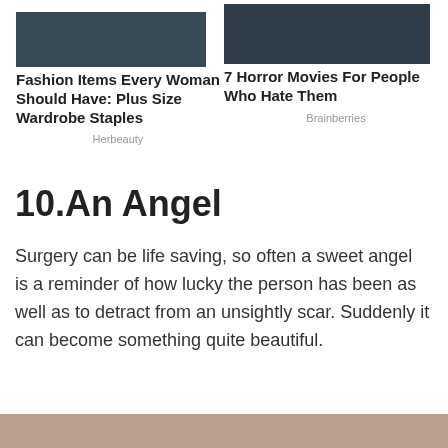[Figure (photo): Left ad: fashion image placeholder (dark background)]
Fashion Items Every Woman Should Have: Plus Size Wardrobe Staples
Herbeauty
[Figure (photo): Right ad: horror movie image placeholder (dark background)]
7 Horror Movies For People Who Hate Them
Brainberries
10.An Angel
Surgery can be life saving, so often a sweet angel is a reminder of how lucky the person has been as well as to detract from an unsightly scar. Suddenly it can become something quite beautiful.
[Figure (photo): Bottom partial image of a person, cropped at page bottom]